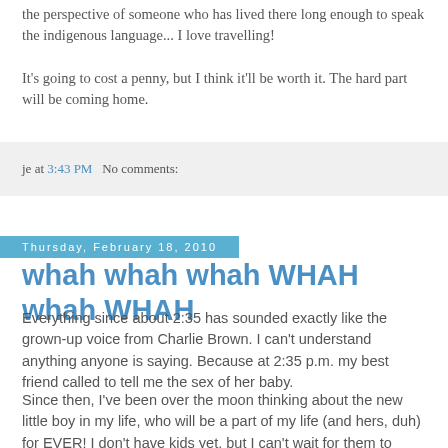the perspective of someone who has lived there long enough to speak the indigenous language... I love travelling!
It's going to cost a penny, but I think it'll be worth it. The hard part will be coming home.
je at 3:43 PM   No comments:
Thursday, February 18, 2010
whah whah whah WHAH whah WHAH
Everything since about 2:35 has sounded exactly like the grown-up voice from Charlie Brown. I can't understand anything anyone is saying. Because at 2:35 p.m. my best friend called to tell me the sex of her baby.
Since then, I've been over the moon thinking about the new little boy in my life, who will be a part of my life (and hers, duh) for EVER! I don't have kids yet, but I can't wait for them to meet! haha.